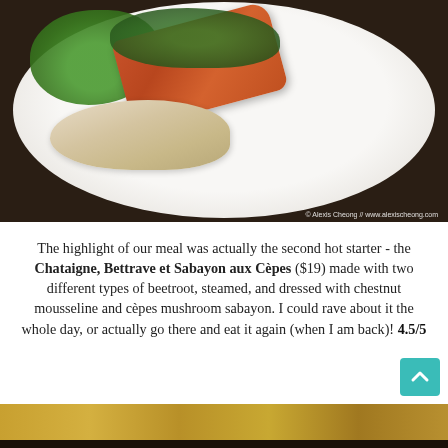[Figure (photo): Food photo of a restaurant dish on a white plate: salmon or beet with herb garnish and mushrooms, on a dark wood table background. Watermark reads: © Alexis Cheong // www.alexischeong.com]
The highlight of our meal was actually the second hot starter - the Chataigne, Bettrave et Sabayon aux Cèpes ($19) made with two different types of beetroot, steamed, and dressed with chestnut mousseline and cèpes mushroom sabayon. I could rave about it the whole day, or actually go there and eat it again (when I am back)! 4.5/5
[Figure (photo): Partial view of another food dish at the bottom of the page, golden/brown tones.]